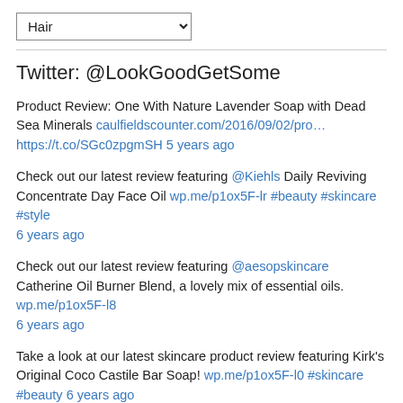Hair (dropdown)
Twitter: @LookGoodGetSome
Product Review: One With Nature Lavender Soap with Dead Sea Minerals caulfieldscounter.com/2016/09/02/pro… https://t.co/SGc0zpgmSH 5 years ago
Check out our latest review featuring @Kiehls Daily Reviving Concentrate Day Face Oil wp.me/p1ox5F-lr #beauty #skincare #style 6 years ago
Check out our latest review featuring @aesopskincare Catherine Oil Burner Blend, a lovely mix of essential oils. wp.me/p1ox5F-l8 6 years ago
Take a look at our latest skincare product review featuring Kirk's Original Coco Castile Bar Soap! wp.me/p1ox5F-l0 #skincare #beauty 6 years ago
Check out our latest product review featuring @AlbaBotanica Very